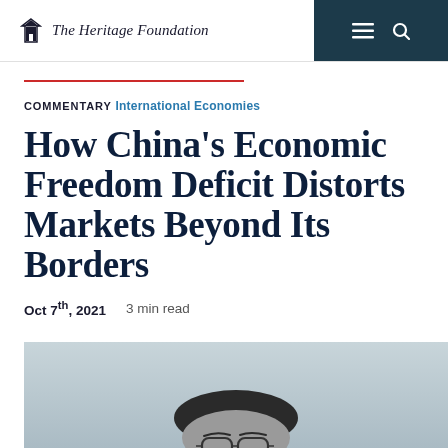The Heritage Foundation
COMMENTARY International Economies
How China's Economic Freedom Deficit Distorts Markets Beyond Its Borders
Oct 7th, 2021   3 min read
[Figure (photo): Grayscale photo of a person wearing glasses, cropped to show upper face and forehead, light gray background]